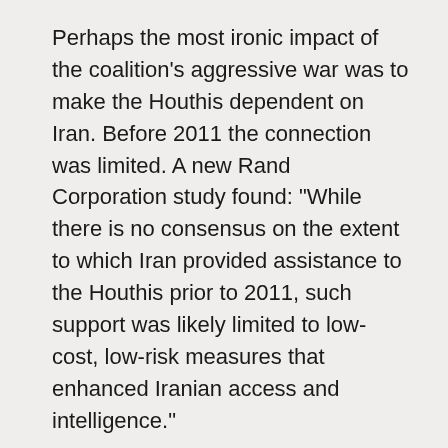Perhaps the most ironic impact of the coalition's aggressive war was to make the Houthis dependent on Iran. Before 2011 the connection was limited. A new Rand Corporation study found: "While there is no consensus on the extent to which Iran provided assistance to the Houthis prior to 2011, such support was likely limited to low-cost, low-risk measures that enhanced Iranian access and intelligence."
However, when attacked by the Saudis, who in recent years have had the world's third largest military budget, after only the US and China, and UAE, called "little Sparta" by American officials, backed by the US, the Houthis had little choice but to look to Tehran for assistance. The Rand study points to the Saudi invasion as the event which pushed the Iranians and Houthis closer together: "Since 2015, Iran has dramatically increased its investment in the Houthi